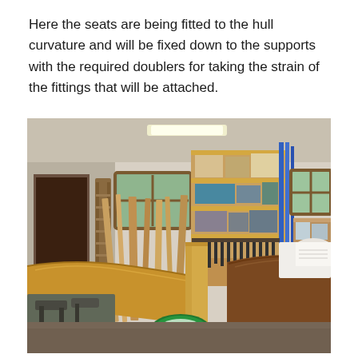Here the seats are being fitted to the hull curvature and will be fixed down to the supports with the required doublers for taking the strain of the fittings that will be attached.
[Figure (photo): A boat-building workshop showing a wooden boat hull under construction in the foreground with curved plywood seats being fitted. The background shows a busy workshop with shelving units holding supplies, tools hanging on a wall rack, windows, ladders, and various woodworking materials.]